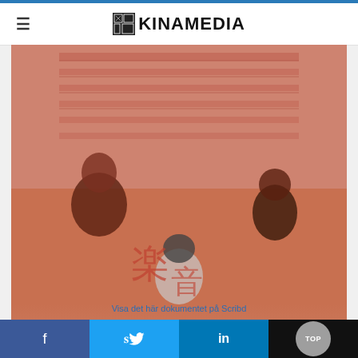KINAMEDIA
[Figure (screenshot): Screenshot of a Scribd document viewer embedded in a webpage. Shows a red-tinted photo of people (appearing to be musicians or performers) standing in front of a building with Chinese characters visible. A teal 'View On Scribd' button overlays the lower portion of the image. Below the image shows '1 of 71' page count with share and expand icons.]
Visa det här dokumentet på Scribd
f
t
in
TOP